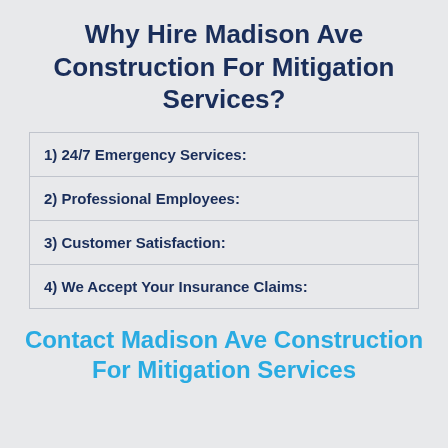Why Hire Madison Ave Construction For Mitigation Services?
1) 24/7 Emergency Services:
2) Professional Employees:
3) Customer Satisfaction:
4) We Accept Your Insurance Claims:
Contact Madison Ave Construction For Mitigation Services